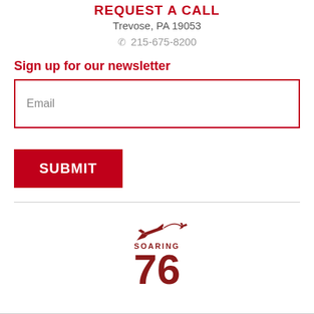REQUEST A CALL
Trevose, PA 19053
215-675-8200
Sign up for our newsletter
Email
SUBMIT
[Figure (logo): Soaring 76 logo — airplane silhouette with arc trail above the text 'SOARING' and bold '76' below, all in dark red/maroon color]